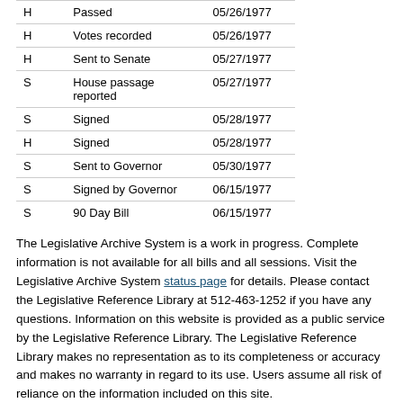| H | Passed | 05/26/1977 |
| H | Votes recorded | 05/26/1977 |
| H | Sent to Senate | 05/27/1977 |
| S | House passage reported | 05/27/1977 |
| S | Signed | 05/28/1977 |
| H | Signed | 05/28/1977 |
| S | Sent to Governor | 05/30/1977 |
| S | Signed by Governor | 06/15/1977 |
| S | 90 Day Bill | 06/15/1977 |
The Legislative Archive System is a work in progress. Complete information is not available for all bills and all sessions. Visit the Legislative Archive System status page for details. Please contact the Legislative Reference Library at 512-463-1252 if you have any questions. Information on this website is provided as a public service by the Legislative Reference Library. The Legislative Reference Library makes no representation as to its completeness or accuracy and makes no warranty in regard to its use. Users assume all risk of reliance on the information included on this site.